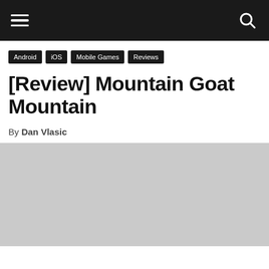Navigation bar with hamburger menu and search icon
Android
iOS
Mobile Games
Reviews
[Review] Mountain Goat Mountain
By Dan Vlasic
[Figure (other): Advertisement / grey placeholder block]